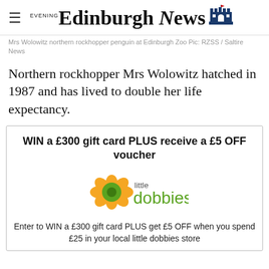Edinburgh Evening News
Mrs Wolowitz northern rockhopper penguin at Edinburgh Zoo Pic: RZSS / Saltire News
Northern rockhopper Mrs Wolowitz hatched in 1987 and has lived to double her life expectancy.
WIN a £300 gift card PLUS receive a £5 OFF voucher
[Figure (logo): little dobbies logo — yellow flower with green centre and green 'little dobbies' text]
Enter to WIN a £300 gift card PLUS get £5 OFF when you spend £25 in your local little dobbies store